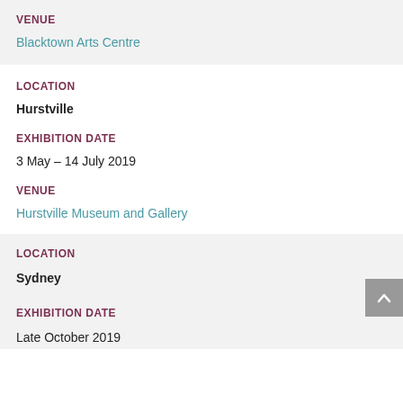VENUE
Blacktown Arts Centre
LOCATION
Hurstville
EXHIBITION DATE
3 May – 14 July 2019
VENUE
Hurstville Museum and Gallery
LOCATION
Sydney
EXHIBITION DATE
Late October 2019